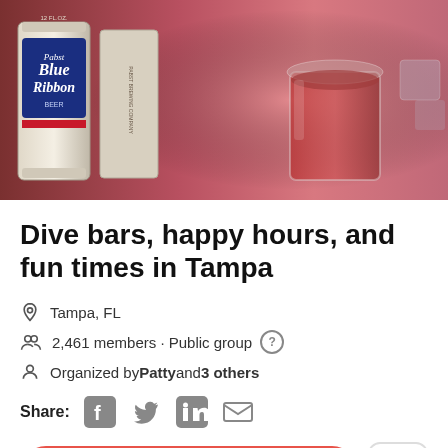[Figure (photo): Photo of Pabst Blue Ribbon beer can and a shot glass with red/brown liquor on a bar surface with pink/red ambient lighting]
Dive bars, happy hours, and fun times in Tampa
Tampa, FL
2,461 members · Public group
Organized by Patty and 3 others
Share:
Join this group
About  Events  Members  Photos  Disc